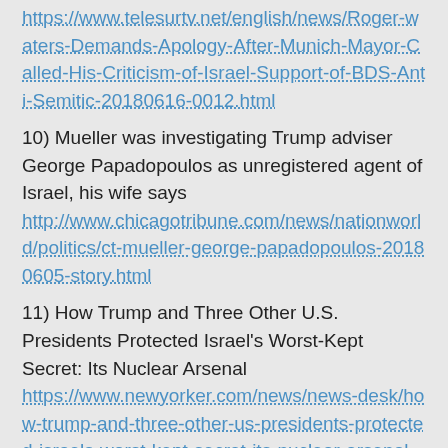https://www.telesurtv.net/english/news/Roger-waters-Demands-Apology-After-Munich-Mayor-Called-His-Criticism-of-Israel-Support-of-BDS-Anti-Semitic-20180616-0012.html
10) Mueller was investigating Trump adviser George Papadopoulos as unregistered agent of Israel, his wife says
http://www.chicagotribune.com/news/nationworld/politics/ct-mueller-george-papadopoulos-20180605-story.html
11) How Trump and Three Other U.S. Presidents Protected Israel's Worst-Kept Secret: Its Nuclear Arsenal
https://www.newyorker.com/news/news-desk/how-trump-and-three-other-us-presidents-protected-israels-worst-kept-secret-its-nuclear-arsenal
12) US lobbyist for Russian oligarch visited Julian